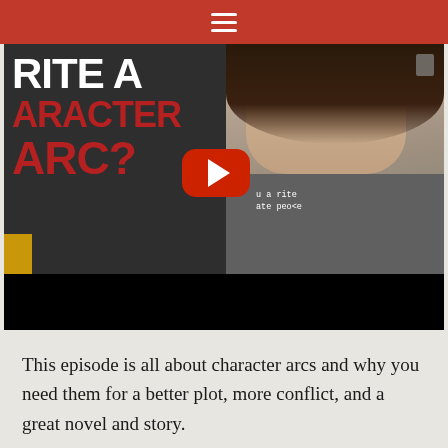≡
[Figure (screenshot): YouTube video thumbnail showing text 'WRITE A CHARACTER ARC?' in white and red bold letters on the left half, and a woman with dark hair resting her chin on her hand on the right half, wearing a gray t-shirt with text 'I am a writer / I hate people'. A YouTube play button (red with white triangle) is overlaid in the center.]
This episode is all about character arcs and why you need them for a better plot, more conflict, and a great novel and story.